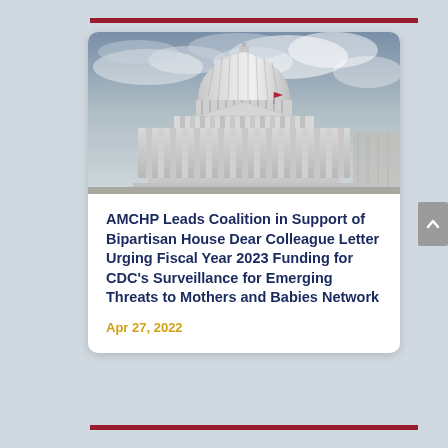[Figure (photo): Photograph of the US Capitol building dome with cloudy sky background]
AMCHP Leads Coalition in Support of Bipartisan House Dear Colleague Letter Urging Fiscal Year 2023 Funding for CDC's Surveillance for Emerging Threats to Mothers and Babies Network
Apr 27, 2022